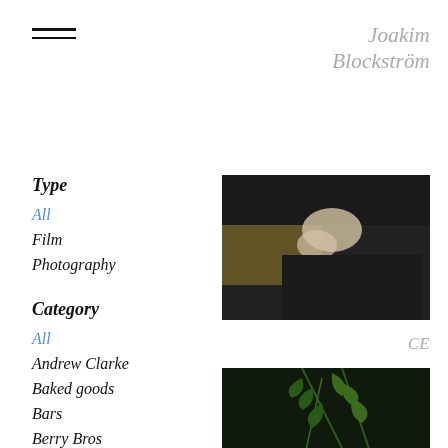[Figure (other): Hamburger menu icon with three horizontal lines]
Joakim Blockström
Type
All
Film
Photography
Category
All
Andrew Clarke
Baked goods
Bars
Berry Bros
Beverages
Big Mamma
[Figure (photo): Dark food photography with mushrooms on dark slate background with yellow/golden cloth]
CE
[Figure (photo): Dark food photography with fresh dill/herb sprigs on dark background with colorful ceramics]